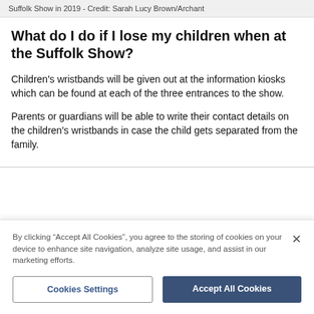Suffolk Show in 2019 - Credit: Sarah Lucy Brown/Archant
What do I do if I lose my children when at the Suffolk Show?
Children's wristbands will be given out at the information kiosks which can be found at each of the three entrances to the show.
Parents or guardians will be able to write their contact details on the children's wristbands in case the child gets separated from the family.
By clicking “Accept All Cookies”, you agree to the storing of cookies on your device to enhance site navigation, analyze site usage, and assist in our marketing efforts.